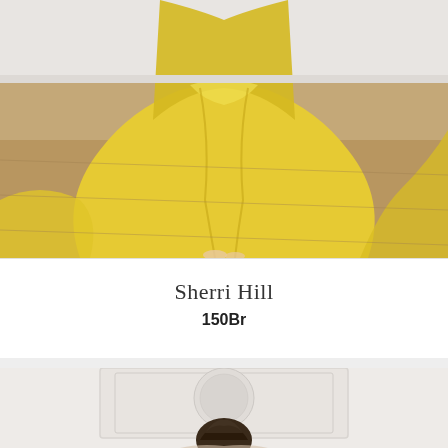[Figure (photo): Photo of a yellow flowing dress on a person, showing only the lower portion of the dress and bare feet on a wooden floor with a white wall background.]
Sherri Hill
150Br
[Figure (photo): Photo of a person with dark hair in an updo, looking down, wearing a light colored outfit, with a decorative white wall panel in the background.]